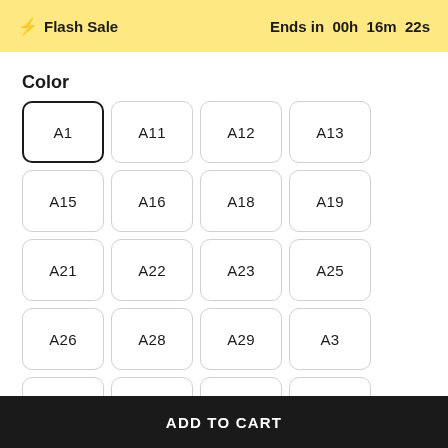⚡ Flash Sale   Ends in 00h 16m 22s
Color
A1 (selected), A11, A12, A13, A15, A16, A18, A19, A21, A22, A23, A25, A26, A28, A29, A3, A5, A6, A8, A9
Size
L, M (selected), XL, XXL, XXXL
- 1 +
ADD TO CART